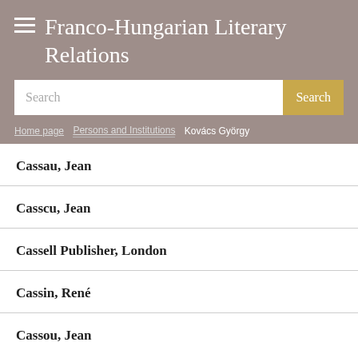Franco-Hungarian Literary Relations
Search
Home page / Persons and Institutions / Kovács György
Cassau, Jean
Casscu, Jean
Cassell Publisher, London
Cassin, René
Cassou, Jean